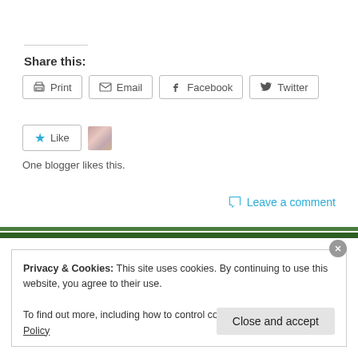Share this:
Print  Email  Facebook  Twitter
Like  One blogger likes this.
Leave a comment
Privacy & Cookies: This site uses cookies. By continuing to use this website, you agree to their use.
To find out more, including how to control cookies, see here: Cookie Policy
Close and accept